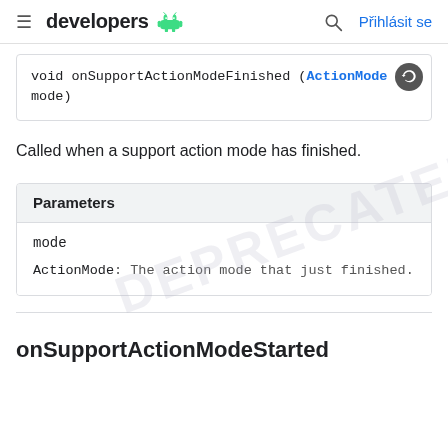developers | Přihlásit se
void onSupportActionModeFinished (ActionMode mode)
Called when a support action mode has finished.
| Parameters |
| --- |
| mode | ActionMode: The action mode that just finished. |
onSupportActionModeStarted